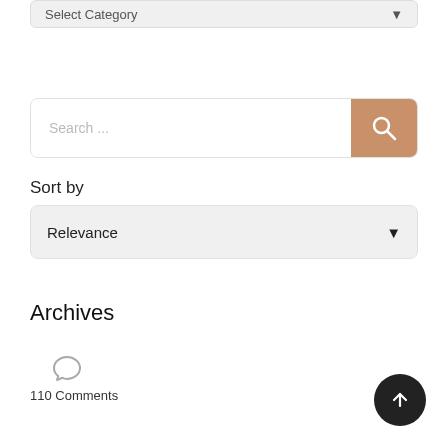[Figure (screenshot): Category dropdown selector showing 'Select Category' with a down arrow, with a grey background]
[Figure (screenshot): Search bar with placeholder text 'Search ...' and a tan/brown search button with magnifying glass icon on the right]
Sort by
[Figure (screenshot): Sort dropdown showing 'Relevance' with a down arrow]
Archives
[Figure (illustration): Speech bubble / comment icon]
110 Comments
[Figure (illustration): Dark circular back-to-top button with upward arrow in bottom right corner]